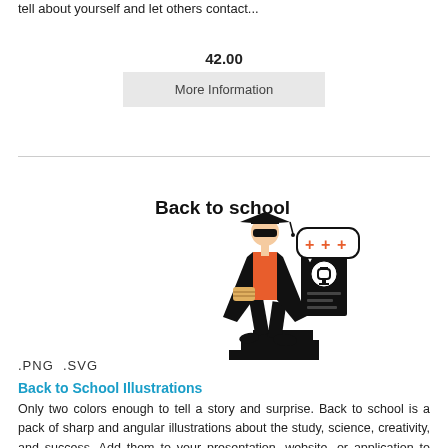tell about yourself and let others contact...
42.00
More Information
[Figure (illustration): Back to School illustration showing a graduate student in orange and black outfit, holding a diploma, with a trophy certificate and speech bubble with plus signs. Text labels: Back to school, .PNG .SVG]
Back to School Illustrations
Only two colors enough to tell a story and surprise. Back to school is a pack of sharp and angular illustrations about the study, science, creativity, and success. Add them to your presentation, website, or application to make it catchy and smart. All...